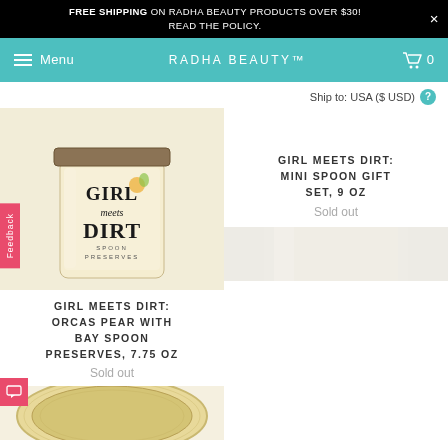FREE SHIPPING ON RADHA BEAUTY PRODUCTS OVER $30! READ THE POLICY.
Menu  RADHA BEAUTY™  0
Ship to: USA ($ USD)
[Figure (photo): A jar of Girl Meets Dirt Spoon Preserves with a cream/yellow label on a white background]
GIRL MEETS DIRT: MINI SPOON GIFT SET, 9 OZ
Sold out
GIRL MEETS DIRT: ORCAS PEAR WITH BAY SPOON PRESERVES, 7.75 OZ
Sold out
[Figure (photo): Top-down view of a jar lid (gold/cream colored) of Girl Meets Dirt product]
[Figure (photo): Partial view of another Girl Meets Dirt jar, white background]